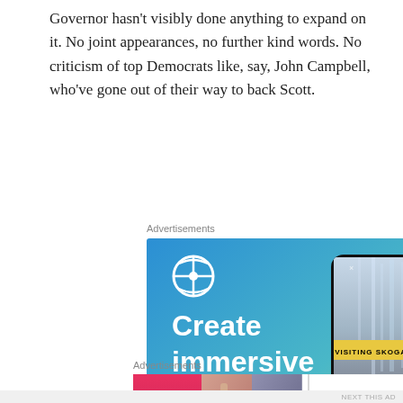Governor hasn't visibly done anything to expand on it. No joint appearances, no further kind words. No criticism of top Democrats like, say, John Campbell, who've gone out of their way to back Scott.
Advertisements
[Figure (illustration): WordPress advertisement showing 'Create immersive stories. GET THE APP' with a phone displaying a waterfall travel story 'VISITING SKOGAFOSS' and the WordPress logo]
Advertisements
[Figure (illustration): Ulta Beauty advertisement showing cosmetic product images and 'SHOP NOW' call to action]